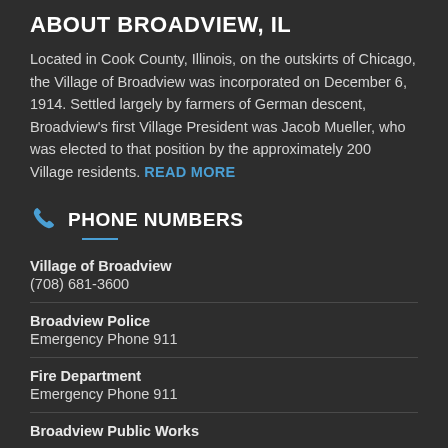ABOUT BROADVIEW, IL
Located in Cook County, Illinois, on the outskirts of Chicago, the Village of Broadview was incorporated on December 6, 1914. Settled largely by farmers of German descent, Broadview's first Village President was Jacob Mueller, who was elected to that position by the approximately 200 Village residents. READ MORE
PHONE NUMBERS
Village of Broadview
(708) 681-3600
Broadview Police
Emergency Phone 911
Fire Department
Emergency Phone 911
Broadview Public Works